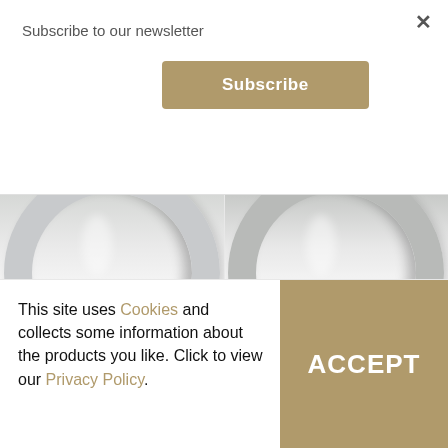Subscribe to our newsletter
Subscribe (button)
[Figure (photo): Partial view of two silver engagement rings side by side]
Modern Twist Pear Diamond Engagement Ring
Classic Pear Diamond Engagement Ring
This site uses Cookies and collects some information about the products you like. Click to view our Privacy Policy.
ACCEPT